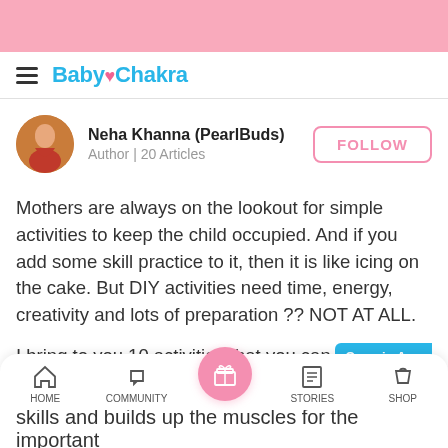[Figure (screenshot): Pink top banner area of BabyChakra mobile app]
Baby Chakra
Neha Khanna (PearlBuds)
Author | 20 Articles
Mothers are always on the lookout for simple activities to keep the child occupied. And if you add some skill practice to it, then it is like icing on the cake. But DIY activities need time, energy, creativity and lots of preparation ?? NOT AT ALL.
I bring to you 10 activities that you can whip out in 5 minutes or less with things already  lying ab the house.
HOME   COMMUNITY   STORIES   SHOP
skills and builds up the muscles for the important